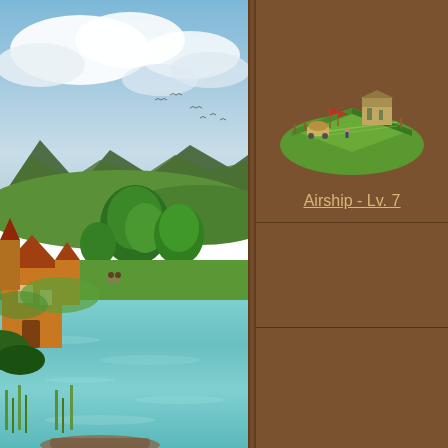[Figure (illustration): Fantasy landscape painting showing a medieval-style building/house on the left bank of a river, surrounded by lush green trees and vegetation, with mountains and cloudy blue sky in the background. A river runs through the middle of the scene with green reeds in the foreground.]
[Figure (illustration): Isometric game sprite of an Airship landing pad or airship station building on green grass, viewed from above at an angle. Shows a flat field with some structures and equipment.]
Airship - Lv. 7